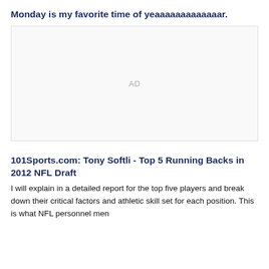Monday is my favorite time of yeaaaaaaaaaaaaar.
[Figure (other): Advertisement placeholder box with 'AD' label in center]
101Sports.com: Tony Softli - Top 5 Running Backs in 2012 NFL Draft
I will explain in a detailed report for the top five players and break down their critical factors and athletic skill set for each position. This is what NFL personnel men